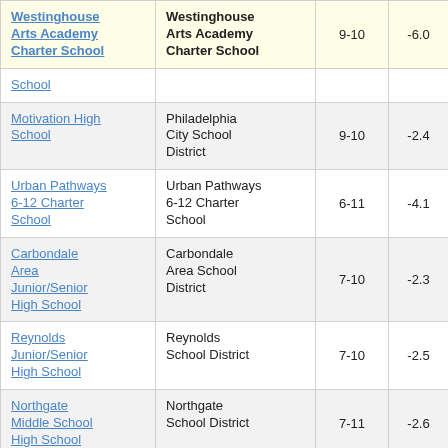| School | District | Grades | Score | ... |
| --- | --- | --- | --- | --- |
| Westinghouse Arts Academy Charter School | Westinghouse Arts Academy Charter School | 9-10 | -6.0 | ... |
| School (continued) |  |  |  |  |
| Motivation High School | Philadelphia City School District | 9-10 | -2.4 | ... |
| Urban Pathways 6-12 Charter School | Urban Pathways 6-12 Charter School | 6-11 | -4.1 | ... |
| Carbondale Area Junior/Senior High School | Carbondale Area School District | 7-10 | -2.3 | ... |
| Reynolds Junior/Senior High School | Reynolds School District | 7-10 | -2.5 | ... |
| Northgate Middle School High School | Northgate School District | 7-11 | -2.6 | ... |